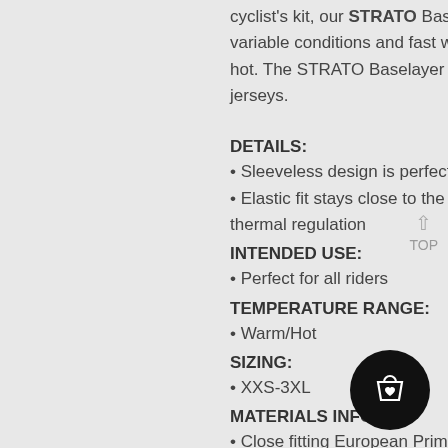cyclist's kit, our STRATO Baselayer offers thermal regulation in variable conditions and fast wicking action to keep you cool when it's hot. The STRATO Baselayer is the perfect compliment to any of our jerseys.
DETAILS:
• Sleeveless design is perfect for high activity levels
• Elastic fit stays close to the body, making for fast sweat wicking and thermal regulation
INTENDED USE:
• Perfect for all riders
TEMPERATURE RANGE:
• Warm/Hot
SIZING:
• XXS-3XL
MATERIALS INFO:
• Close fitting European Prima mesh fabric